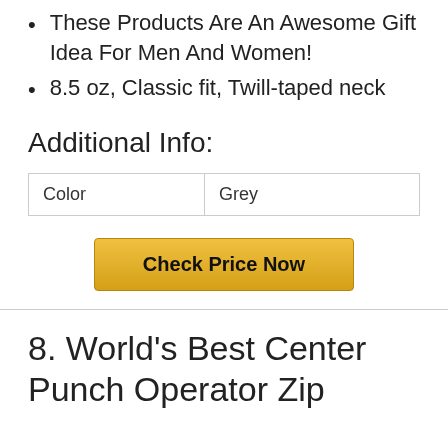These Products Are An Awesome Gift Idea For Men And Women!
8.5 oz, Classic fit, Twill-taped neck
Additional Info:
| Color | Grey |
Check Price Now
8. World's Best Center Punch Operator Zip